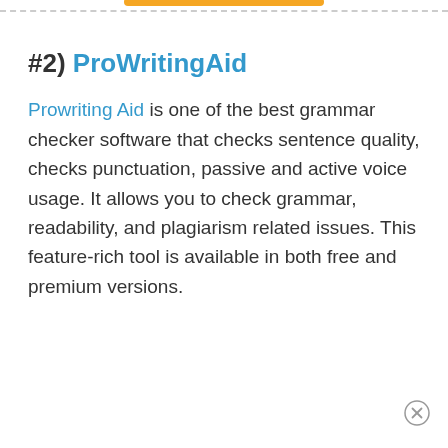#2) ProWritingAid
Prowriting Aid is one of the best grammar checker software that checks sentence quality, checks punctuation, passive and active voice usage. It allows you to check grammar, readability, and plagiarism related issues. This feature-rich tool is available in both free and premium versions.